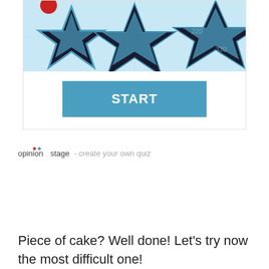[Figure (screenshot): Quiz widget showing a star graphic at the top (black and blue star on light blue background) with a blue START button below it]
opinion stage - create your own quiz
Piece of cake? Well done! Let's try now the most difficult one!